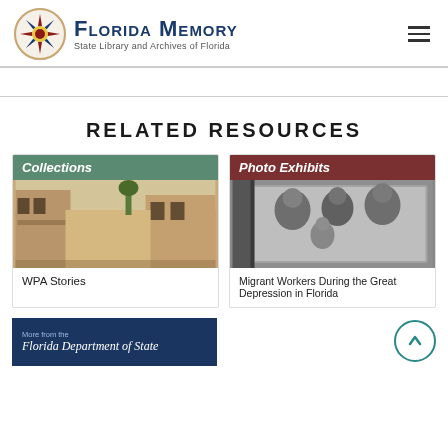Florida Memory — State Library and Archives of Florida
RELATED RESOURCES
[Figure (screenshot): Collections card with a vintage street scene photo, labeled 'WPA Stories']
[Figure (screenshot): Photo Exhibits card with a black-and-white photo of migrant workers, labeled 'Migrant Workers During the Great Depression in Florida']
More from the Florida Department of State